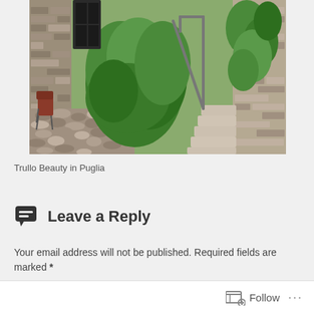[Figure (photo): Stone building exterior with lush green ivy/bushes, metal stair railing, cobblestone courtyard, and a red chair visible at left. Traditional Italian trullo architecture.]
Trullo Beauty in Puglia
Leave a Reply
Your email address will not be published. Required fields are marked *